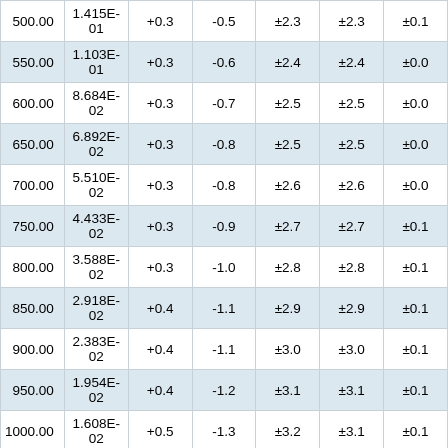| 500.00 | 1.415E-01 | +0.3 | -0.5 | ±2.3 | ±2.3 | ±0.1 |
| 550.00 | 1.103E-01 | +0.3 | -0.6 | ±2.4 | ±2.4 | ±0.0 |
| 600.00 | 8.684E-02 | +0.3 | -0.7 | ±2.5 | ±2.5 | ±0.0 |
| 650.00 | 6.892E-02 | +0.3 | -0.8 | ±2.5 | ±2.5 | ±0.0 |
| 700.00 | 5.510E-02 | +0.3 | -0.8 | ±2.6 | ±2.6 | ±0.0 |
| 750.00 | 4.433E-02 | +0.3 | -0.9 | ±2.7 | ±2.7 | ±0.1 |
| 800.00 | 3.588E-02 | +0.3 | -1.0 | ±2.8 | ±2.8 | ±0.1 |
| 850.00 | 2.918E-02 | +0.4 | -1.1 | ±2.9 | ±2.9 | ±0.1 |
| 900.00 | 2.383E-02 | +0.4 | -1.1 | ±3.0 | ±3.0 | ±0.1 |
| 950.00 | 1.954E-02 | +0.4 | -1.2 | ±3.1 | ±3.1 | ±0.1 |
| 1000.00 | 1.608E-02 | +0.5 | -1.3 | ±3.2 | ±3.1 | ±0.1 |
| 1050.00 | 1.328E-02 | +0.5 | -1.4 | ±3.3 | ±3.2 | ±0.2 |
| 1100.00 | 1.099E-02 | +0.6 | -1.4 | ±3.4 | ±3.4 | ±0.2 |
| 1150.00 | 9.126E-03 | +0.6 | -1.5 | ±3.5 | ±3.5 | ±0.2 |
| 1200.00 | 7.593E-03 | +0.6 | -1.6 | ±3.6 | ±3.6 | ±0.2 |
| 1250.00 | 6.331E-03 | +0.7 | -1.7 | ±3.7 | ±3.7 | ±0.2 |